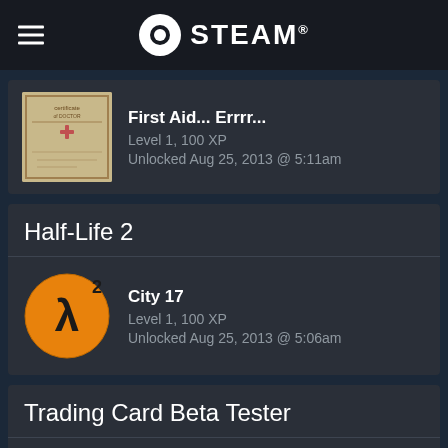Steam
[Figure (screenshot): Achievement card for 'First Aid... Errr...' showing a certificate-style image]
First Aid... Errrr...
Level 1, 100 XP
Unlocked Aug 25, 2013 @ 5:11am
Half-Life 2
[Figure (logo): Half-Life 2 lambda logo in orange circle]
City 17
Level 1, 100 XP
Unlocked Aug 25, 2013 @ 5:06am
Trading Card Beta Tester
Trading Card Beta Tester